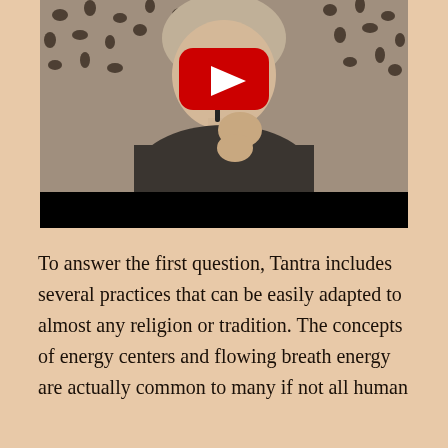[Figure (screenshot): A YouTube video thumbnail showing a person with light brown/gray hair sitting in front of a floral/patterned curtain background, wearing a dark sweater, with their hand raised near their chin. A red YouTube play button overlay is visible in the upper-center of the video frame. The bottom portion has a black bar.]
To answer the first question, Tantra includes several practices that can be easily adapted to almost any religion or tradition. The concepts of energy centers and flowing breath energy are actually common to many if not all human